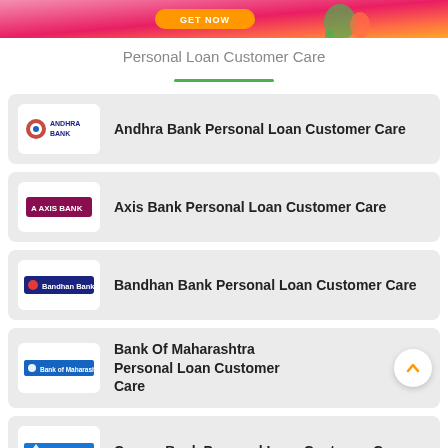[Figure (illustration): Promotional banner with orange button and decorative illustration on pink/orange gradient background]
Personal Loan Customer Care
Andhra Bank Personal Loan Customer Care
Axis Bank Personal Loan Customer Care
Bandhan Bank Personal Loan Customer Care
Bank Of Maharashtra Personal Loan Customer Care
Canara Bank Personal Loan Customer Care